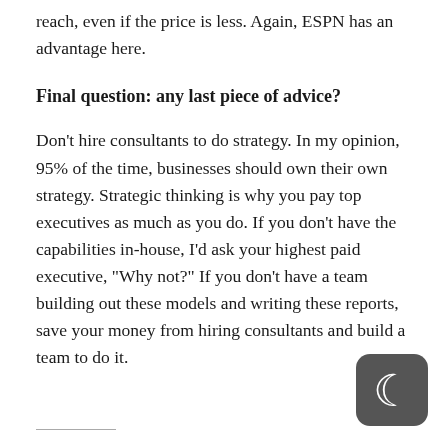reach, even if the price is less. Again, ESPN has an advantage here.
Final question: any last piece of advice?
Don't hire consultants to do strategy. In my opinion, 95% of the time, businesses should own their own strategy. Strategic thinking is why you pay top executives as much as you do. If you don't have the capabilities in-house, I'd ask your highest paid executive, "Why not?" If you don't have a team building out these models and writing these reports, save your money from hiring consultants and build a team to do it.